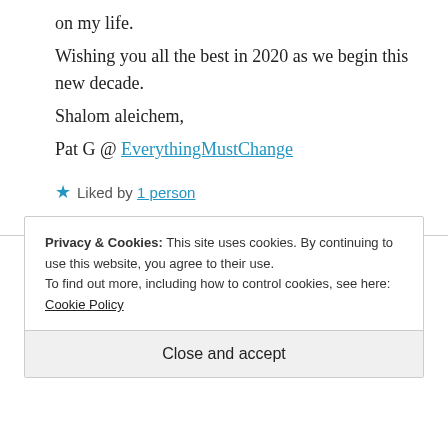on my life.
Wishing you all the best in 2020 as we begin this new decade.
Shalom aleichem,
Pat G @ EverythingMustChange
★ Liked by 1 person
REPLY
[Figure (illustration): Partial view of a circular avatar image in teal/blue color]
Privacy & Cookies: This site uses cookies. By continuing to use this website, you agree to their use.
To find out more, including how to control cookies, see here: Cookie Policy
Close and accept
...